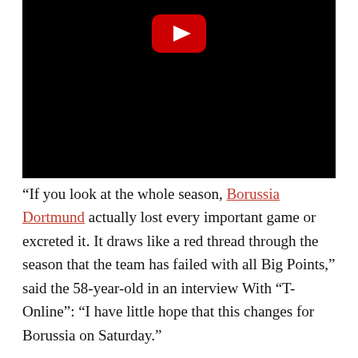[Figure (screenshot): Black video thumbnail with YouTube play button icon (red rectangle with white triangle) at top center]
“If you look at the whole season, Borussia Dortmund actually lost every important game or excreted it. It draws like a red thread through the season that the team has failed with all Big Points,” said the 58-year-old in an interview With “T-Online”: “I have little hope that this changes for Borussia on Saturday.”